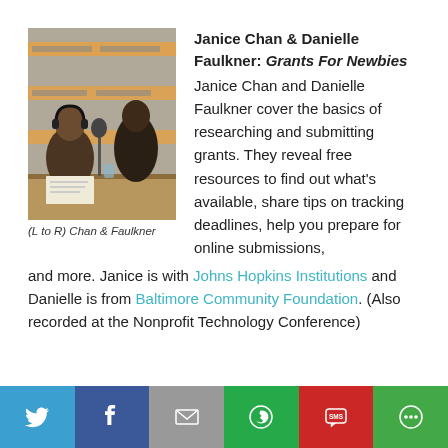[Figure (photo): Two women at a radio recording session, one with headphones on. Nonprofit Radio branded banners visible in background.]
(L to R) Chan & Faulkner
Janice Chan & Danielle Faulkner: Grants For Newbies
Janice Chan and Danielle Faulkner cover the basics of researching and submitting grants. They reveal free resources to find out what's available, share tips on tracking deadlines, help you prepare for online submissions, and more. Janice is with Johns Hopkins Institutions and Danielle is from Baltimore Community Foundation. (Also recorded at the Nonprofit Technology Conference)
[Figure (infographic): Social sharing bar with icons for Twitter, Facebook, Email, WhatsApp, SMS, and More options.]